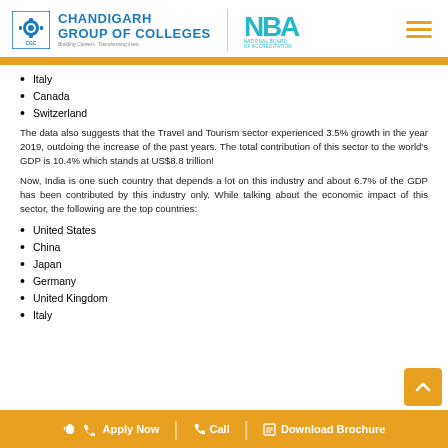Chandigarh Group of Colleges | National Board of Accreditation
Italy
Canada
Switzerland
The data also suggests that the Travel and Tourism sector experienced 3.5% growth in the year 2019, outdoing the increase of the past years. The total contribution of this sector to the world's GDP is 10.4% which stands at US$8.8 trillion!
Now, India is one such country that depends a lot on this industry and about 6.7% of the GDP has been contributed by this industry only. While talking about the economic impact of this sector, the following are the top countries:
United States
China
Japan
Germany
United Kingdom
Italy
Apply Now | Call | Download Brochure